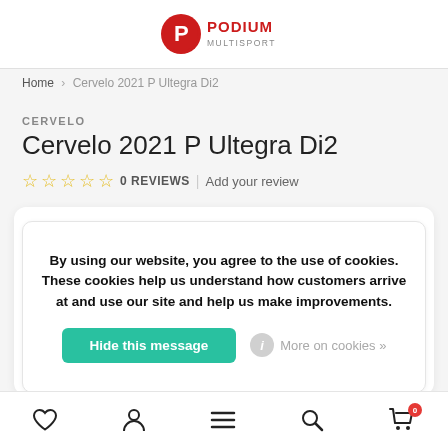PODIUM MULTISPORT
Home > Cervelo 2021 P Ultegra Di2
CERVELO
Cervelo 2021 P Ultegra Di2
0 REVIEWS | Add your review
By using our website, you agree to the use of cookies. These cookies help us understand how customers arrive at and use our site and help us make improvements.
Hide this message
More on cookies »
[Figure (photo): Partial view of bicycle wheels at the bottom of the product page]
Bottom navigation bar with wishlist, account, menu, search, and cart icons